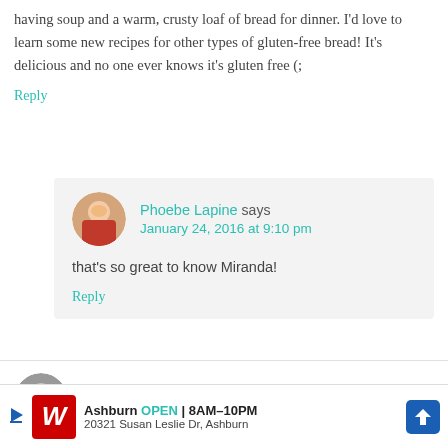having soup and a warm, crusty loaf of bread for dinner. I'd love to learn some new recipes for other types of gluten-free bread! It's delicious and no one ever knows it's gluten free (;
Reply
Phoebe Lapine says January 24, 2016 at 9:10 pm
that's so great to know Miranda!
Reply
Ben says January 21, 2016 at 3:20 pm
[Figure (infographic): Advertisement banner for Walgreens showing logo, Ashburn location, OPEN 8AM-10PM, address 20321 Susan Leslie Dr, Ashburn, and navigation arrow icon]